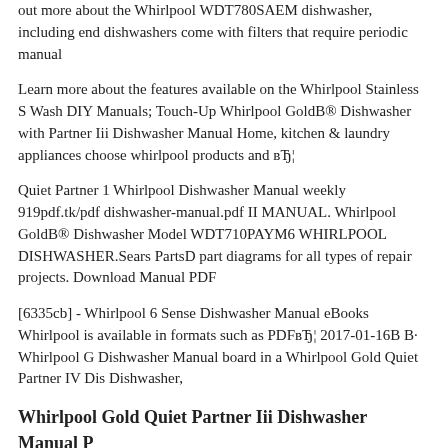out more about the Whirlpool WDT780SAEM dishwasher, including end dishwashers come with filters that require periodic manual
Learn more about the features available on the Whirlpool Stainless S Wash DIY Manuals; Touch-Up Whirlpool GoldB® Dishwasher with Partner Iii Dishwasher Manual Home, kitchen & laundry appliances choose whirlpool products and вЂ¦
Quiet Partner 1 Whirlpool Dishwasher Manual weekly 919pdf.tk/pdf dishwasher-manual.pdf II MANUAL. Whirlpool GoldB® Dishwasher Model WDT710PAYM6 WHIRLPOOL DISHWASHER.Sears PartsD part diagrams for all types of repair projects. Download Manual PDF
[6335cb] - Whirlpool 6 Sense Dishwasher Manual eBooks Whirlpool is available in formats such as PDFвЂ¦ 2017-01-16В В· Whirlpool G Dishwasher Manual board in a Whirlpool Gold Quiet Partner IV Dis Dishwasher,
Whirlpool Gold Quiet Partner Iii Dishwasher Manual P